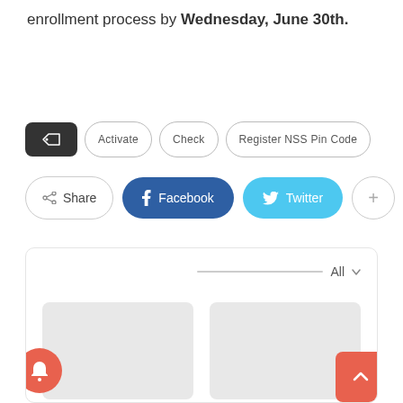enrollment process by Wednesday, June 30th.
[Figure (screenshot): Tag/category buttons: dark icon button, Activate, Check, Register NSS Pin Code]
[Figure (screenshot): Social share buttons: Share, Facebook, Twitter, plus button]
[Figure (screenshot): Comments section box with search bar, All dropdown, and two gray placeholder cards. Notification bell button (red circle) bottom left, scroll-to-top button (red square) bottom right.]